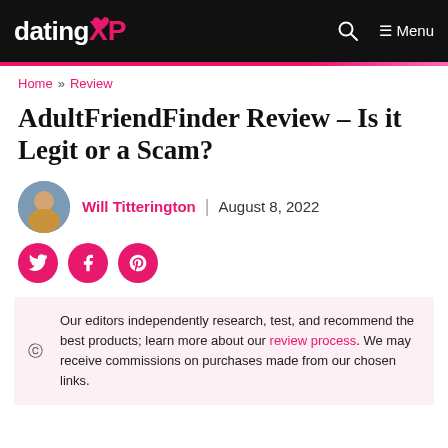datingXP  Menu
Home » Review
AdultFriendFinder Review – Is it Legit or a Scam?
Will Titterington | August 8, 2022
[Figure (illustration): Social sharing icons: Twitter, Facebook, Pinterest (pink circles)]
Our editors independently research, test, and recommend the best products; learn more about our review process. We may receive commissions on purchases made from our chosen links.